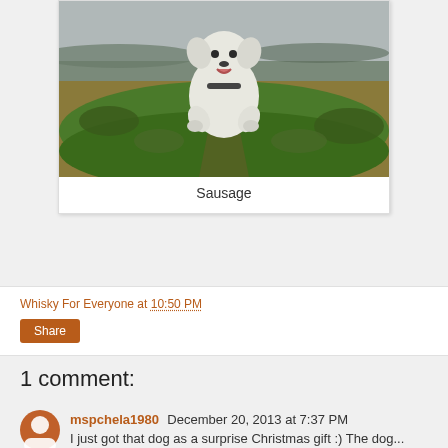[Figure (photo): A fluffy white dog jumping joyfully in a grassy field, photographed from ground level. The dog appears mid-leap with mouth open and paws up. Background shows green and brown grass with a grey overcast sky.]
Sausage
Whisky For Everyone at 10:50 PM
Share
1 comment:
mspchela1980 December 20, 2013 at 7:37 PM